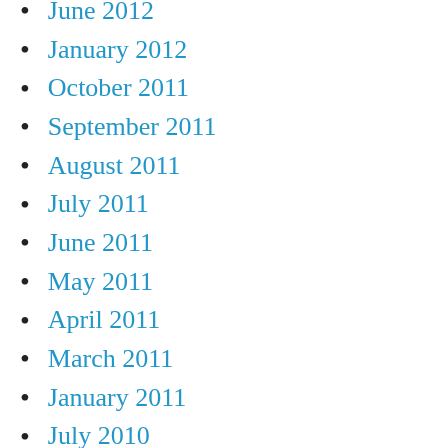June 2012
January 2011
October 2011
September 2011
August 2011
July 2011
June 2011
May 2011
April 2011
March 2011
January 2011
July 2010
June 2010
January 2010
December 2009
May 2009
April 2009